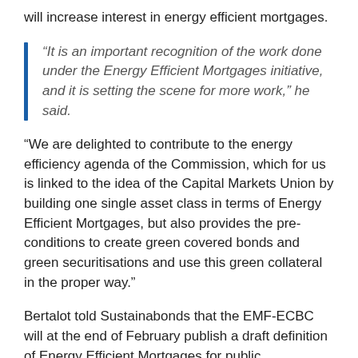will increase interest in energy efficient mortgages.
“It is an important recognition of the work done under the Energy Efficient Mortgages initiative, and it is setting the scene for more work,” he said.
“We are delighted to contribute to the energy efficiency agenda of the Commission, which for us is linked to the idea of the Capital Markets Union by building one single asset class in terms of Energy Efficient Mortgages, but also provides the pre-conditions to create green covered bonds and green securitisations and use this green collateral in the proper way.”
Bertalot told Sustainabonds that the EMF-ECBC will at the end of February publish a draft definition of Energy Efficient Mortgages for public consultation. The final definition will then be published in June, after which the EMF-ECBC will ask banks to actively participate in a pilot phase by following EeMAP working streams that ultimately aim at collecting a comprehensive data set at European level.